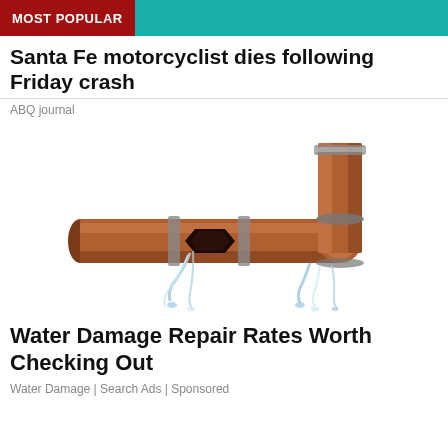MOST POPULAR
Santa Fe motorcyclist dies following Friday crash
ABQ journal
[Figure (photo): A leaking copper pipe joint with water spraying out from cracks at the elbow connection, shown against a white background.]
Water Damage Repair Rates Worth Checking Out
Water Damage | Search Ads | Sponsored